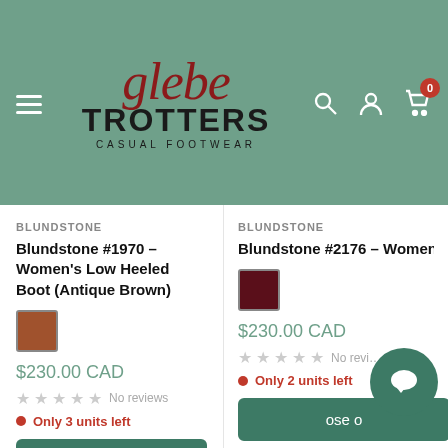Glebe Trotters Casual Footwear
BLUNDSTONE
Blundstone #1970 - Women's Low Heeled Boot (Antique Brown)
$230.00 CAD
No reviews
Only 3 units left
Choose options
BLUNDSTONE
Blundstone #2176 - Women's Low Heeled Boot (...)
$230.00 CAD
No reviews
Only 2 units left
ose o